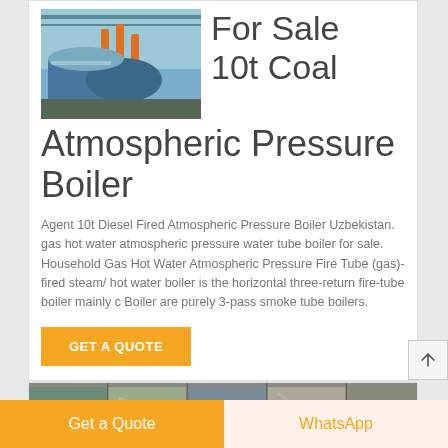[Figure (photo): Industrial boiler equipment in a factory setting with blue cylindrical boilers and orange/yellow piping]
For Sale 10t Coal Atmospheric Pressure Boiler
Agent 10t Diesel Fired Atmospheric Pressure Boiler Uzbekistan. gas hot water atmospheric pressure water tube boiler for sale. Household Gas Hot Water Atmospheric Pressure Fire Tube (gas)-fired steam/ hot water boiler is the horizontal three-return fire-tube boiler mainly c Boiler are purely 3-pass smoke tube boilers.
GET A QUOTE
[Figure (photo): Thumbnail strip of industrial boiler facility images]
Get a Quote
WhatsApp